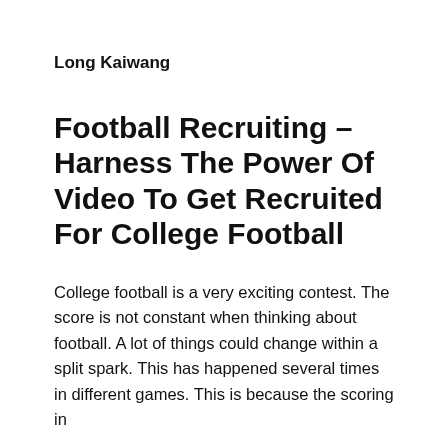Long Kaiwang
Football Recruiting – Harness The Power Of Video To Get Recruited For College Football
College football is a very exciting contest. The score is not constant when thinking about football. A lot of things could change within a split spark. This has happened several times in different games. This is because the scoring in